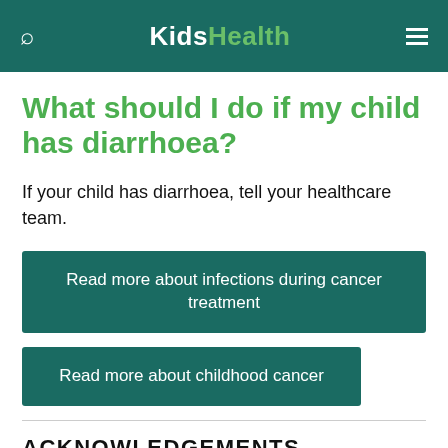KidsHealth
What should I do if my child has diarrhoea?
If your child has diarrhoea, tell your healthcare team.
Read more about infections during cancer treatment
Read more about childhood cancer
ACKNOWLEDGEMENTS